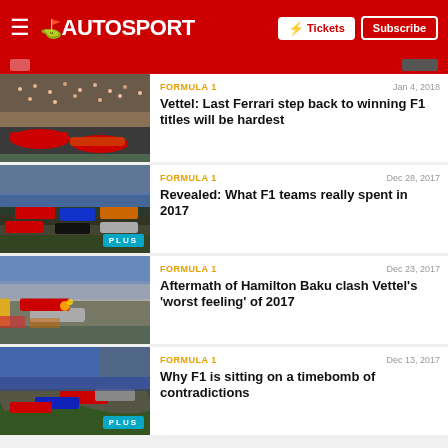AUTOSPORT — Tickets | Subscribe
[Figure (photo): Formula 1 race start podium celebration crowd grandstands Ferrari]
FORMULA 1 — Jan 4, 2018
Vettel: Last Ferrari step back to winning F1 titles will be hardest
[Figure (photo): Formula 1 race start grid multiple cars PLUS badge]
FORMULA 1 — Dec 28, 2017
Revealed: What F1 teams really spent in 2017
[Figure (photo): Formula 1 Hamilton Vettel Baku crash on-track incident]
FORMULA 1 — Dec 23, 2017
Aftermath of Hamilton Baku clash Vettel's 'worst feeling' of 2017
[Figure (photo): Formula 1 cars racing corner Ferrari Red Bull PLUS badge]
FORMULA 1 — Dec 13, 2017
Why F1 is sitting on a timebomb of contradictions